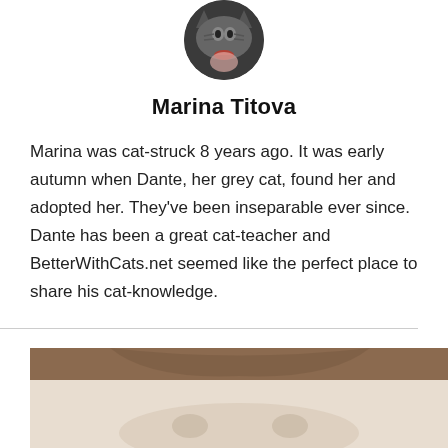[Figure (photo): Circular avatar photo of Marina Titova showing a woman with red lips next to a grey cat]
Marina Titova
Marina was cat-struck 8 years ago. It was early autumn when Dante, her grey cat, found her and adopted her. They've been inseparable ever since. Dante has been a great cat-teacher and BetterWithCats.net seemed like the perfect place to share his cat-knowledge.
Recent Posts
[Figure (photo): Partial photo of a cat, warm tan/beige tones, cropped at bottom of page]